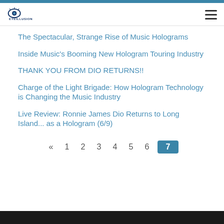EyeIllusion
The Spectacular, Strange Rise of Music Holograms
Inside Music's Booming New Hologram Touring Industry
THANK YOU FROM DIO RETURNS!!
Charge of the Light Brigade: How Hologram Technology is Changing the Music Industry
Live Review: Ronnie James Dio Returns to Long Island... as a Hologram (6/9)
« 1 2 3 4 5 6 7